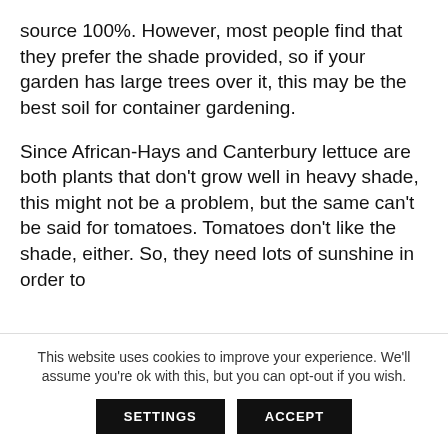source 100%. However, most people find that they prefer the shade provided, so if your garden has large trees over it, this may be the best soil for container gardening.
Since African-Hays and Canterbury lettuce are both plants that don't grow well in heavy shade, this might not be a problem, but the same can't be said for tomatoes. Tomatoes don't like the shade, either. So, they need lots of sunshine in order to
This website uses cookies to improve your experience. We'll assume you're ok with this, but you can opt-out if you wish.
SETTINGS
ACCEPT